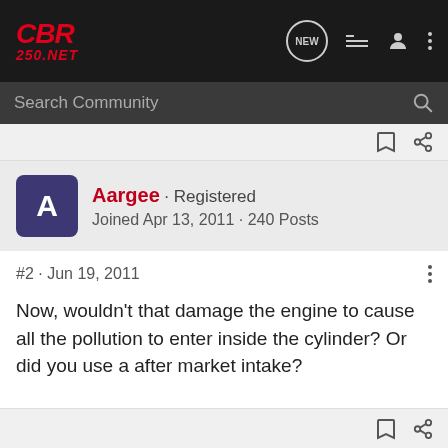CBR250.NET
Search Community
Aargee · Registered
Joined Apr 13, 2011 · 240 Posts
#2 · Jun 19, 2011
Now, wouldn't that damage the engine to cause all the pollution to enter inside the cylinder? Or did you use a after market intake?